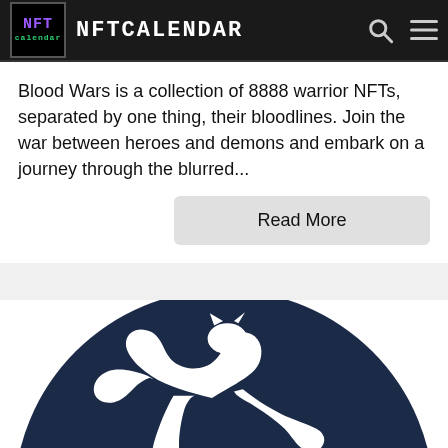NFTCALENDAR
Blood Wars is a collection of 8888 warrior NFTs, separated by one thing, their bloodlines. Join the war between heroes and demons and embark on a journey through the blurred...
Read More
[Figure (logo): PUMA logo — white leaping cat silhouette on dark navy circular background]